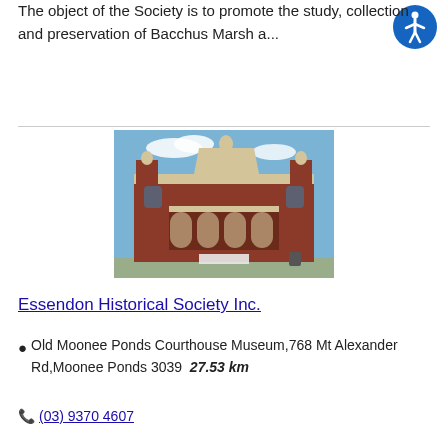The object of the Society is to promote the study, collection and preservation of Bacchus Marsh a...
[Figure (photo): Photograph of a historic red brick building with ornate cream-coloured architectural detailing, arched colonnade, and decorative towers under a blue sky — the Old Moonee Ponds Courthouse Museum.]
Essendon Historical Society Inc.
Old Moonee Ponds Courthouse Museum,768 Mt Alexander Rd,Moonee Ponds 3039   27.53 km
(03) 9370 4607